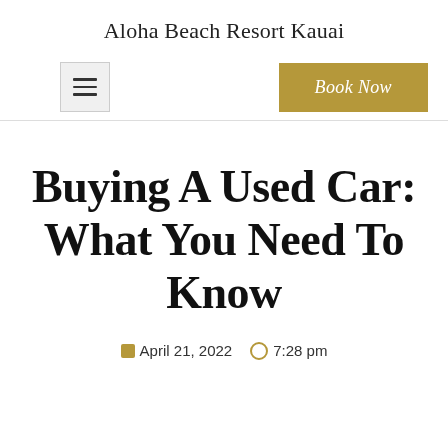Aloha Beach Resort Kauai
[Figure (screenshot): Navigation bar with hamburger menu icon on left and gold 'Book Now' button on right]
Buying A Used Car: What You Need To Know
April 21, 2022  7:28 pm